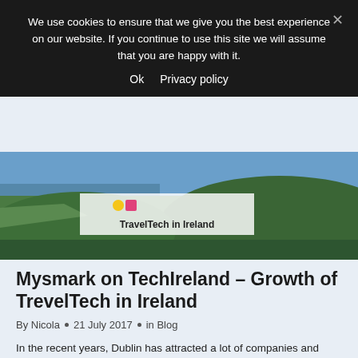We use cookies to ensure that we give you the best experience on our website. If you continue to use this site we will assume that you are happy with it.
Ok   Privacy policy
[Figure (photo): Hero banner image showing coastal Irish landscape with green hills and sea, with a semi-transparent overlay containing the text TravelTech in Ireland]
Mysmark on TechIreland – Growth of TrevelTech in Ireland
By Nicola • 21 July 2017 • in Blog
In the recent years, Dublin has attracted a lot of companies and start-ups. The entrepreneur environment, especially in the tech market, is now more active than ever and one of the hottest topics is the Mysmark one! That is developing new technologies for travel market.  This topic, the Irish